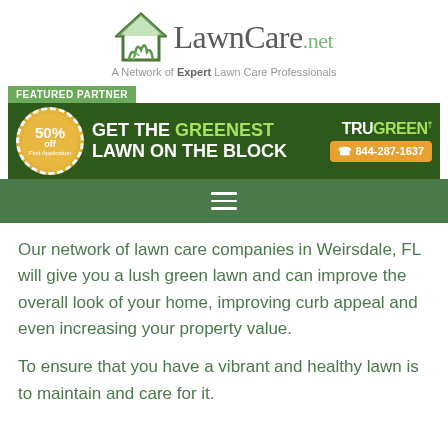[Figure (logo): LawnCare.net logo with house and grass graphic, text reads LawnCare.net]
A Network of Expert Lawn Care Professionals
FEATURED PARTNER
[Figure (infographic): TruGreen advertisement banner: GET THE GREENEST LAWN ON THE BLOCK, 50% off First Application, 844-287-1637]
[Figure (other): Navigation hamburger menu icon on dark green bar]
Our network of lawn care companies in Weirsdale, FL will give you a lush green lawn and can improve the overall look of your home, improving curb appeal and even increasing your property value.
To ensure that you have a vibrant and healthy lawn is to maintain and care for it.